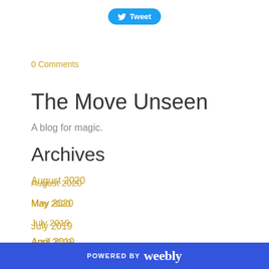[Figure (other): Twitter Tweet button with bird icon]
0 Comments
The Move Unseen
A blog for magic.
Archives
August 2020
May 2020
July 2019
April 2019
August 2018
POWERED BY weebly